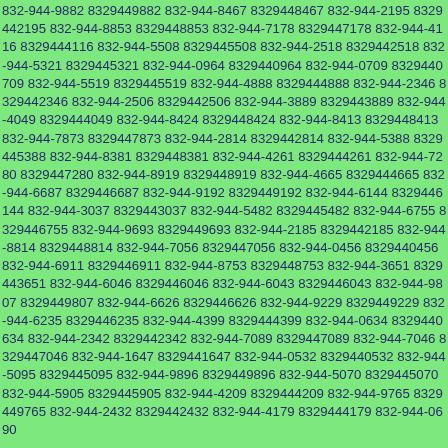832-944-9882 8329449882 832-944-8467 8329448467 832-944-2195 8329442195 832-944-8853 8329448853 832-944-7178 8329447178 832-944-4116 8329444116 832-944-5508 8329445508 832-944-2518 8329442518 832-944-5321 8329445321 832-944-0964 8329440964 832-944-0709 8329440709 832-944-5519 8329445519 832-944-4888 8329444888 832-944-2346 8329442346 832-944-2506 8329442506 832-944-3889 8329443889 832-944-4049 8329444049 832-944-8424 8329448424 832-944-8413 8329448413 832-944-7873 8329447873 832-944-2814 8329442814 832-944-5388 8329445388 832-944-8381 8329448381 832-944-4261 8329444261 832-944-7280 8329447280 832-944-8919 8329448919 832-944-4665 8329444665 832-944-6687 8329446687 832-944-9192 8329449192 832-944-6144 8329446144 832-944-3037 8329443037 832-944-5482 8329445482 832-944-6755 8329446755 832-944-9693 8329449693 832-944-2185 8329442185 832-944-8814 8329448814 832-944-7056 8329447056 832-944-0456 8329440456 832-944-6911 8329446911 832-944-8753 8329448753 832-944-3651 8329443651 832-944-6046 8329446046 832-944-6043 8329446043 832-944-9807 8329449807 832-944-6626 8329446626 832-944-9229 8329449229 832-944-6235 8329446235 832-944-4399 8329444399 832-944-0634 8329440634 832-944-2342 8329442342 832-944-7089 8329447089 832-944-7046 8329447046 832-944-1647 8329441647 832-944-0532 8329440532 832-944-5095 8329445095 832-944-9896 8329449896 832-944-5070 8329445070 832-944-5905 8329445905 832-944-4209 8329444209 832-944-9765 8329449765 832-944-2432 8329442432 832-944-4179 8329444179 832-944-0690